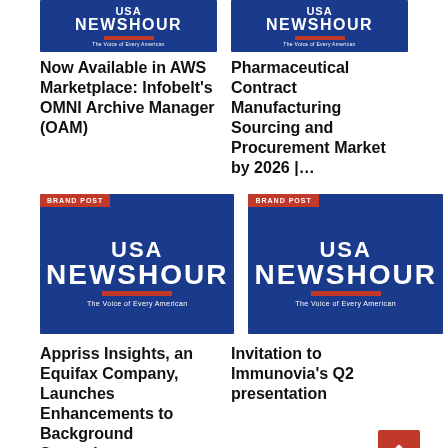[Figure (logo): USA Newshour logo on blue background, top left card]
[Figure (logo): USA Newshour logo on blue background, top right card]
Now Available in AWS Marketplace: Infobelt's OMNI Archive Manager (OAM)
Pharmaceutical Contract Manufacturing Sourcing and Procurement Market by 2026 |…
[Figure (logo): USA Newshour logo on blue background with BRAND POST badge, bottom left card]
[Figure (logo): USA Newshour logo on blue background with BRAND POST badge, bottom right card]
Appriss Insights, an Equifax Company, Launches Enhancements to Background Screening…
Invitation to Immunovia's Q2 presentation